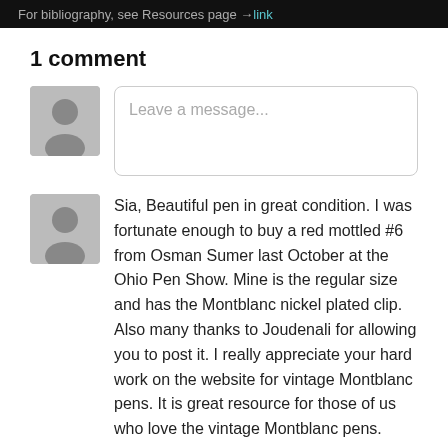For bibliography, see Resources page →link
1 comment
[Figure (illustration): Default user avatar placeholder (gray square with silhouette icon) next to a 'Leave a message...' input box]
Sia, Beautiful pen in great condition. I was fortunate enough to buy a red mottled #6 from Osman Sumer last October at the Ohio Pen Show. Mine is the regular size and has the Montblanc nickel plated clip. Also many thanks to Joudenali for allowing you to post it. I really appreciate your hard work on the website for vintage Montblanc pens. It is great resource for those of us who love the vintage Montblanc pens.
Greg Kessinger · 2 years ago ·
Reply · 1 ♡